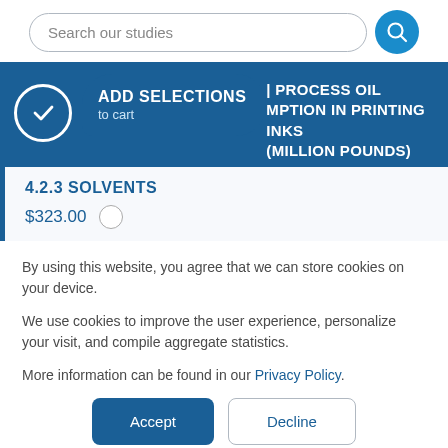Search our studies
ADD SELECTIONS to cart
PROCESS OIL MPTION IN PRINTING INKS (MILLION POUNDS)
4.2.3 SOLVENTS
$323.00
By using this website, you agree that we can store cookies on your device.
We use cookies to improve the user experience, personalize your visit, and compile aggregate statistics.
More information can be found in our Privacy Policy.
Accept
Decline